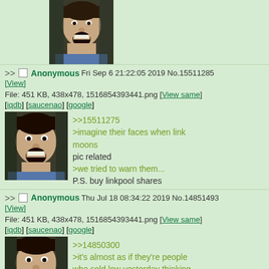[Figure (photo): Partial view of a man with mouth open, screaming expression, top of page]
>> Anonymous Fri Sep 6 21:22:05 2019 No.15511285 [View]
File: 451 KB, 438x478, 1516854393441.png [View same] [iqdb] [saucenao] [google]
[Figure (photo): Man with dark hair, mouth open, screaming expression]
>>15511275
>imagine their faces when link moons
pic related
>we tried to warn them...
P.S. buy linkpool shares
>> Anonymous Thu Jul 18 08:34:22 2019 No.14851493 [View]
File: 451 KB, 438x478, 1516854393441.png [View same] [iqdb] [saucenao] [google]
[Figure (photo): Man with dark hair, mouth open, screaming expression (same image)]
>>14850300
>it's almost as if they're people who sold low yesterday thinking